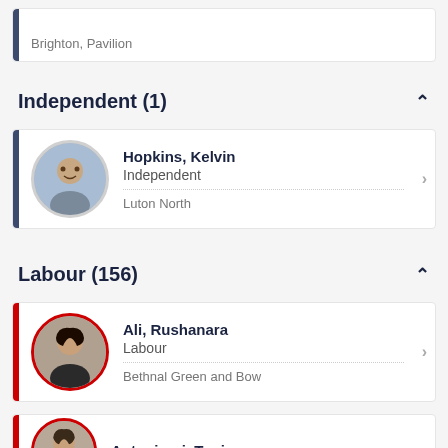Brighton, Pavilion
Independent (1)
Hopkins, Kelvin | Independent | Luton North
Labour (156)
Ali, Rushanara | Labour | Bethnal Green and Bow
Antoniazzi, Tonia